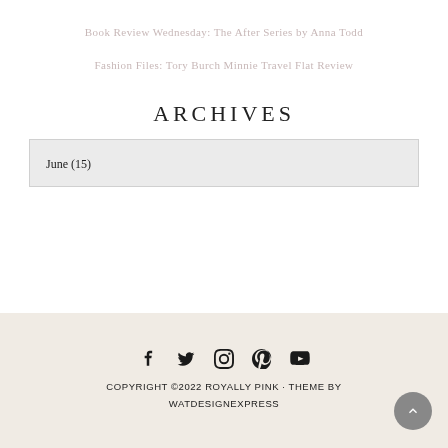Book Review Wednesday: The After Series by Anna Todd
Fashion Files: Tory Burch Minnie Travel Flat Review
ARCHIVES
June (15)
[Figure (other): Social media icons: Facebook, Twitter, Instagram, Pinterest, YouTube]
COPYRIGHT ©2022 ROYALLY PINK · THEME BY WATDESIGNEXPRESS